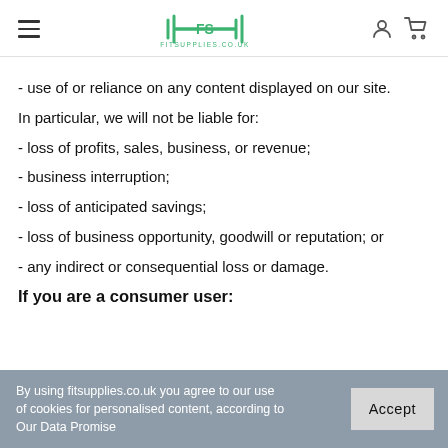FITSUPPLIES.CO.UK
- use of or reliance on any content displayed on our site.
In particular, we will not be liable for:
- loss of profits, sales, business, or revenue;
- business interruption;
- loss of anticipated savings;
- loss of business opportunity, goodwill or reputation; or
- any indirect or consequential loss or damage.
If you are a consumer user:
By using fitsupplies.co.uk you agree to our use of cookies for personalised content, according to Our Data Promise